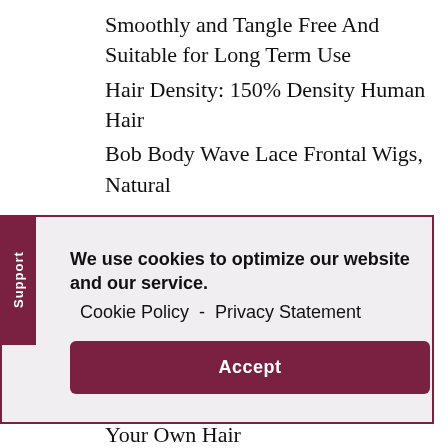Smoothly and Tangle Free And Suitable for Long Term Use
Hair Density: 150% Density Human Hair
Bob Body Wave Lace Frontal Wigs, Natural
[Figure (screenshot): Cookie consent banner with 'We use cookies to optimize our website and our service. Cookie Policy - Privacy Statement' text, an Accept button, and a vertical 'Support' tab on the left side.]
Dyed, Bleached and Restyled as Your Own Hair
air Advantage:Light Brown Lace Color and Bleached Knots Make it More Natural when